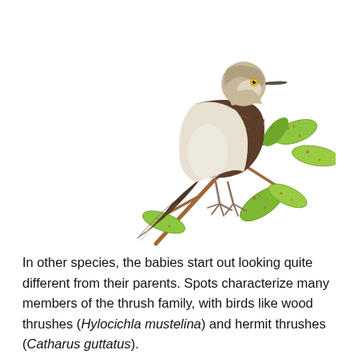[Figure (photo): A mockingbird with brown wings and white/cream underparts perched on a leafy green branch with reddish-spotted leaves against a white background.]
In other species, the babies start out looking quite different from their parents. Spots characterize many members of the thrush family, with birds like wood thrushes (Hylocichla mustelina) and hermit thrushes (Catharus guttatus).